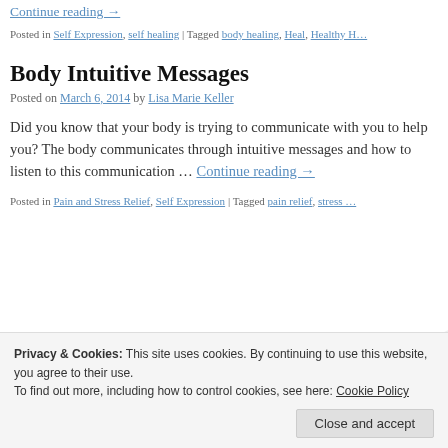Continue reading →
Posted in Self Expression, self healing | Tagged body healing, Heal, Healthy …
Body Intuitive Messages
Posted on March 6, 2014 by Lisa Marie Keller
Did you know that your body is trying to communicate with you to help you? The body communicates through intuitive messages and how to listen to this communication … Continue reading →
Posted in Pain and Stress Relief, Self Expression | Tagged pain relief, stress …
Privacy & Cookies: This site uses cookies. By continuing to use this website, you agree to their use. To find out more, including how to control cookies, see here: Cookie Policy
Close and accept